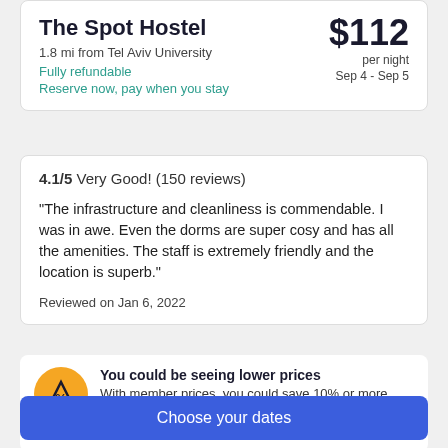The Spot Hostel
1.8 mi from Tel Aviv University
Fully refundable
Reserve now, pay when you stay
$112 per night Sep 4 - Sep 5
4.1/5 Very Good! (150 reviews)
"The infrastructure and cleanliness is commendable. I was in awe. Even the dorms are super cosy and has all the amenities. The staff is extremely friendly and the location is superb."
Reviewed on Jan 6, 2022
You could be seeing lower prices
With member prices, you could save 10% or more right now on thousands of properties.
Sign up, it's free   Sign in
Choose your dates